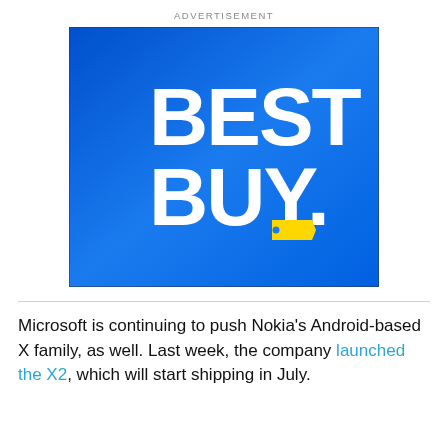ADVERTISEMENT
[Figure (logo): Best Buy logo on a blue gradient background. White bold text reading 'BEST BUY.' with a yellow price tag icon after the period.]
Microsoft is continuing to push Nokia’s Android-based X family, as well. Last week, the company launched the X2, which will start shipping in July.